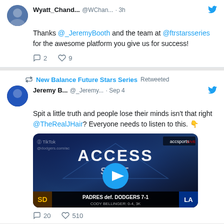Wyatt_Chand... @WChan... · 3h
Thanks @_JeremyBooth and the team at @ftrstarsseries for the awesome platform you give us for success!
2 replies, 9 likes
New Balance Future Stars Series Retweeted
Jeremy B... @_Jeremy... · Sep 4
Spit a little truth and people lose their minds isn't that right @TheRealJHair? Everyone needs to listen to this. 👇
[Figure (screenshot): Video thumbnail showing ACCESS SportsNet TV segment, two men at a desk, with score overlay: PADRES def. DODGERS 7-1, CODY BELLINGER: 0-4, 3K. Play button visible.]
20 replies, 510 likes